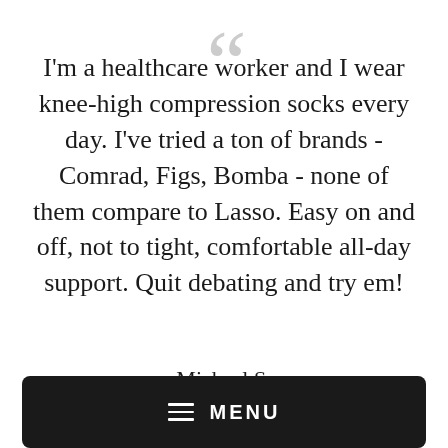I'm a healthcare worker and I wear knee-high compression socks every day. I've tried a ton of brands - Comrad, Figs, Bomba - none of them compare to Lasso. Easy on and off, not to tight, comfortable all-day support. Quit debating and try em!
MichaelS.
[Figure (other): Dark navigation menu bar with hamburger icon and MENU text label]